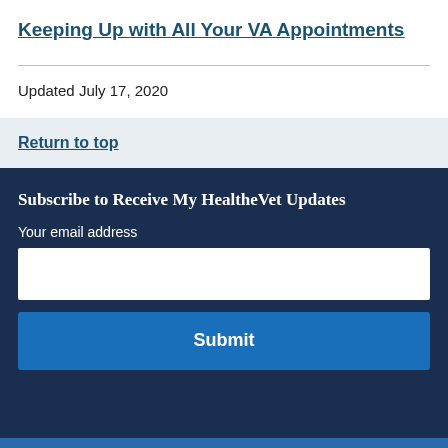Keeping Up with All Your VA Appointments
Updated July 17, 2020
Return to top
Subscribe to Receive My HealtheVet Updates
Your email address